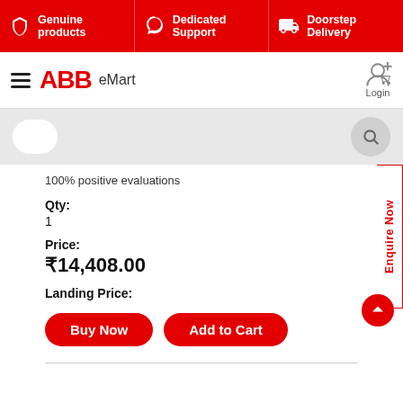Genuine products | Dedicated Support | Doorstep Delivery
ABB eMart — Login
100% positive evaluations
Qty:
1
Price:
₹14,408.00
Landing Price:
Buy Now
Add to Cart
Seller:
MANI SALES